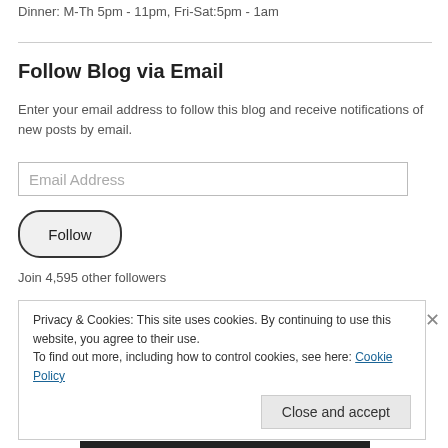Dinner: M-Th 5pm - 11pm, Fri-Sat:5pm - 1am
Follow Blog via Email
Enter your email address to follow this blog and receive notifications of new posts by email.
Email Address
Follow
Join 4,595 other followers
Privacy & Cookies: This site uses cookies. By continuing to use this website, you agree to their use.
To find out more, including how to control cookies, see here: Cookie Policy
Close and accept